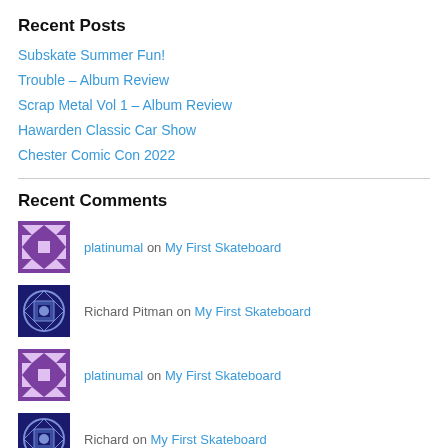Recent Posts
Subskate Summer Fun!
Trouble – Album Review
Scrap Metal Vol 1 – Album Review
Hawarden Classic Car Show
Chester Comic Con 2022
Recent Comments
platinumal on My First Skateboard
Richard Pitman on My First Skateboard
platinumal on My First Skateboard
Richard on My First Skateboard